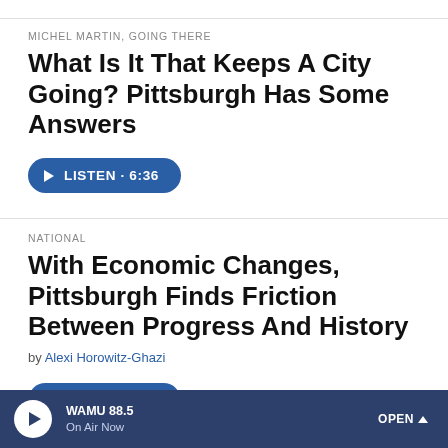MICHEL MARTIN, GOING THERE
What Is It That Keeps A City Going? Pittsburgh Has Some Answers
[Figure (other): Blue listen button with play icon: LISTEN · 6:36]
NATIONAL
With Economic Changes, Pittsburgh Finds Friction Between Progress And History
by Alexi Horowitz-Ghazi
[Figure (other): Blue listen button with play icon: LISTEN · 4:52]
WAMU 88.5 On Air Now OPEN ^